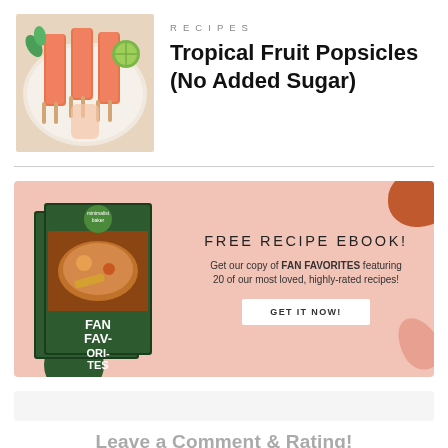[Figure (photo): Tropical fruit popsicles on a plate with lime and mint garnish, held by a hand]
RECIPES
Tropical Fruit Popsicles (No Added Sugar)
[Figure (infographic): Free Recipe Ebook promotional banner with Fan Favorites cookbook image, pink background, orange blob decoration, text: FREE RECIPE EBOOK! Get our copy of FAN FAVORITES featuring 20 of our most loved, highly-rated recipes! GET IT NOW!]
Leave a Comment & Rating!